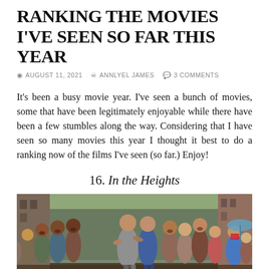RANKING THE MOVIES I'VE SEEN SO FAR THIS YEAR
AUGUST 11, 2021  ANNLYEL JAMES  3 COMMENTS
It’s been a busy movie year. I’ve seen a bunch of movies, some that have been legitimately enjoyable while there have been a few stumbles along the way. Considering that I have seen so many movies this year I thought it best to do a ranking now of the films I’ve seen (so far.) Enjoy!
16. In the Heights
[Figure (photo): Scene from the movie 'In the Heights' showing a crowd of people dancing and celebrating in an urban street setting, with a man and woman as central figures.]